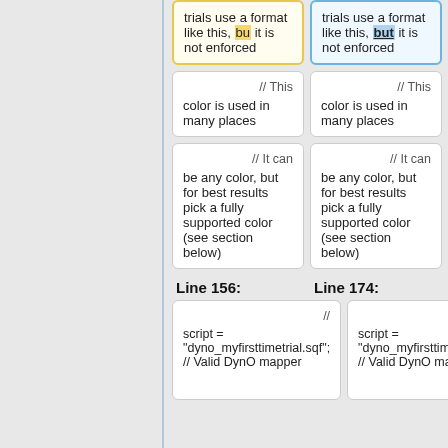trials use a format like this, bu it is not enforced (left column, yellow highlight on 'bu')
trials use a format like this, but it is not enforced (right column, blue highlight on 'but')
// This color is used in many places (left)
// This color is used in many places (right)
// It can be any color, but for best results pick a fully supported color (see section below) (left)
// It can be any color, but for best results pick a fully supported color (see section below) (right)
Line 156:
Line 174:
// script = "dyno_myfirsttimetrial.sqf"; // Valid DynO mapper (left)
// script = "dyno_myfirsttimetrial.sqf"; // Valid DynO mapper (right)